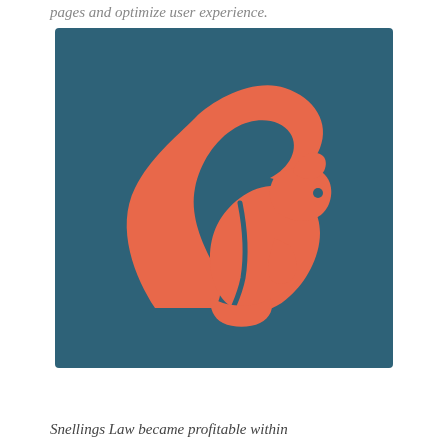pages and optimize user experience.
[Figure (logo): A stylized coral/salmon-colored squirrel icon on a dark teal/slate blue square background. The squirrel is shown in profile facing right, with a large curved tail arching upward and over its body. The design is a flat, minimalist illustration.]
Snellings Law became profitable within